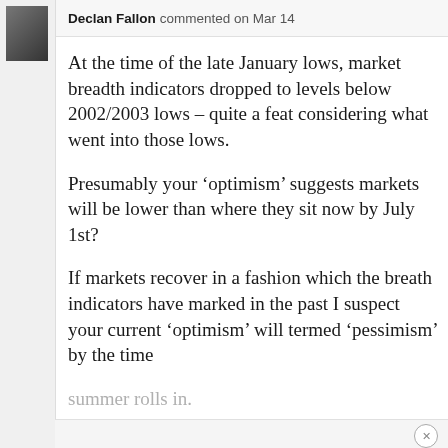Declan Fallon commented on Mar 14
At the time of the late January lows, market breadth indicators dropped to levels below 2002/2003 lows – quite a feat considering what went into those lows.
Presumably your ‘optimism’ suggests markets will be lower than where they sit now by July 1st?
If markets recover in a fashion which the breath indicators have marked in the past I suspect your current ‘optimism’ will termed ‘pessimism’ by the time summer rolls in.